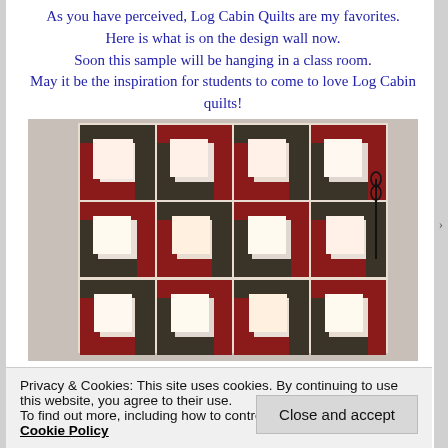As you have perceived, Log Cabin Quilts are my favorites.
Here is what is on the design wall now.
Soon this sample will be hanging in a class room.
May it be the inspiration for students to come to love Log Cabin quilts!
[Figure (photo): A log cabin quilt laid on a wall showing a pattern of red, cream, and dark brown/black fabric strips arranged in log cabin blocks. A pair of scissors is visible at the right side.]
Privacy & Cookies: This site uses cookies. By continuing to use this website, you agree to their use.
To find out more, including how to control cookies, see here: Cookie Policy